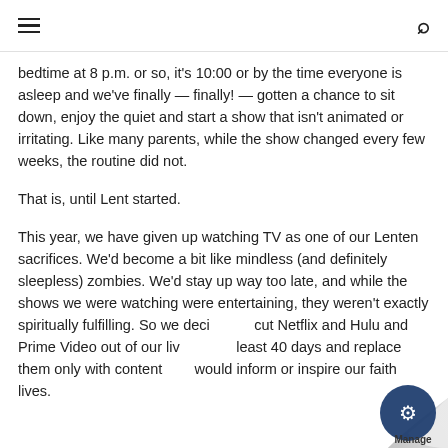≡  🔍
bedtime at 8 p.m. or so, it's 10:00 or by the time everyone is asleep and we've finally — finally! — gotten a chance to sit down, enjoy the quiet and start a show that isn't animated or irritating. Like many parents, while the show changed every few weeks, the routine did not.
That is, until Lent started.
This year, we have given up watching TV as one of our Lenten sacrifices. We'd become a bit like mindless (and definitely sleepless) zombies. We'd stay up way too late, and while the shows we were watching were entertaining, they weren't exactly spiritually fulfilling. So we decided to cut Netflix and Hulu and Prime Video out of our lives for at least 40 days and replace them only with content that would inform or inspire our faith lives.